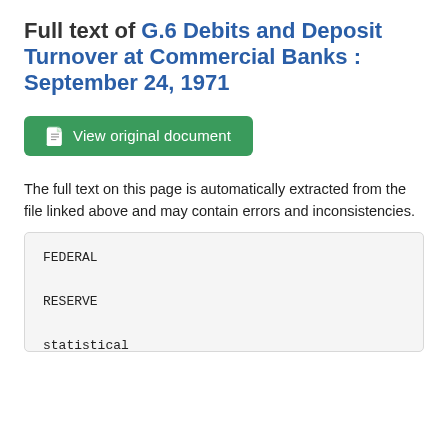Full text of G.6 Debits and Deposit Turnover at Commercial Banks : September 24, 1971
View original document
The full text on this page is automatically extracted from the file linked above and may contain errors and inconsistencies.
FEDERAL

RESERVE

statistical
'*f*Al RE^-'

release